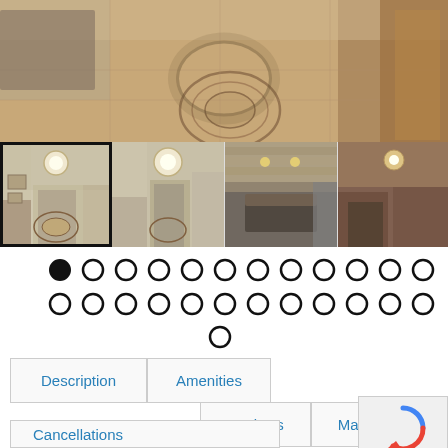[Figure (photo): Main gallery photo showing interior hallway with decorative tile floor medallion]
[Figure (photo): Thumbnail 1 (selected/active): Interior hallway with ornate tile floor]
[Figure (photo): Thumbnail 2: Interior hallway/foyer view]
[Figure (photo): Thumbnail 3: Kitchen with stone backsplash and island]
[Figure (photo): Thumbnail 4: Kitchen/dining area]
[Figure (infographic): Pagination dots: 27 total circles, first one filled black, rest empty]
Description
Amenities
Reviews
Map
Cancellations
[Figure (logo): Google reCAPTCHA badge with Privacy and Terms text]